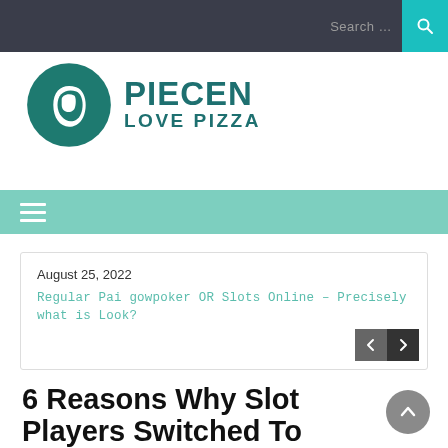Search …
[Figure (logo): ePiecen Love Pizza logo with teal leaf/e icon and bold teal text PIECEN LOVE PIZZA]
[Figure (other): Teal navigation bar with hamburger menu icon]
August 25, 2022
Regular Pai gowpoker OR Slots Online – Precisely what is Look?
6 Reasons Why Slot Players Switched To Online Casinos